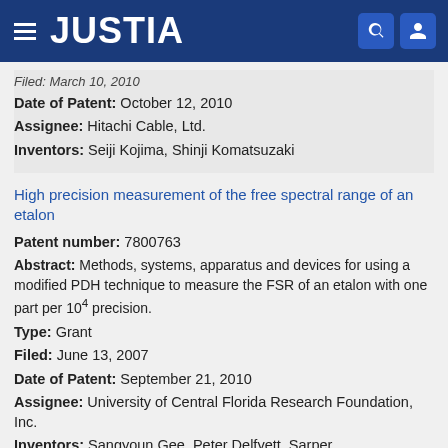JUSTIA
Filed: March 10, 2010
Date of Patent: October 12, 2010
Assignee: Hitachi Cable, Ltd.
Inventors: Seiji Kojima, Shinji Komatsuzaki
High precision measurement of the free spectral range of an etalon
Patent number: 7800763
Abstract: Methods, systems, apparatus and devices for using a modified PDH technique to measure the FSR of an etalon with one part per 104 precision.
Type: Grant
Filed: June 13, 2007
Date of Patent: September 21, 2010
Assignee: University of Central Florida Research Foundation, Inc.
Inventors: Sangyoun Gee, Peter Delfyett, Sarper